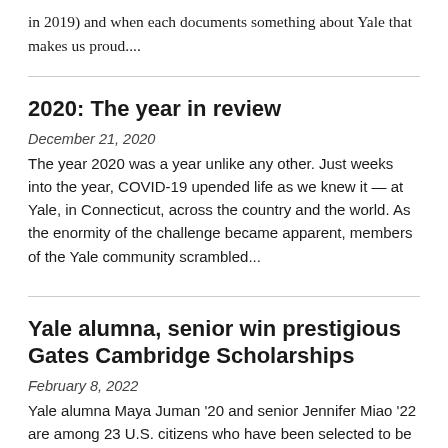in 2019) and when each documents something about Yale that makes us proud....
2020: The year in review
December 21, 2020
The year 2020 was a year unlike any other. Just weeks into the year, COVID-19 upended life as we knew it — at Yale, in Connecticut, across the country and the world. As the enormity of the challenge became apparent, members of the Yale community scrambled...
Yale alumna, senior win prestigious Gates Cambridge Scholarships
February 8, 2022
Yale alumna Maya Juman '20 and senior Jennifer Miao '22 are among 23 U.S. citizens who have been selected to be